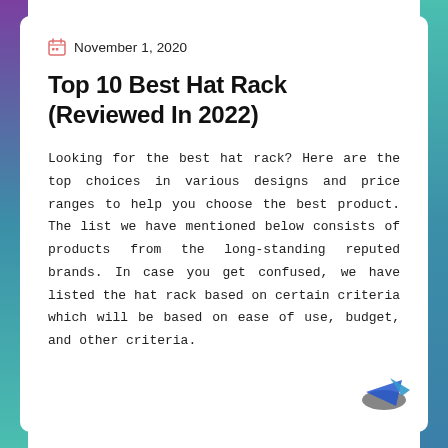November 1, 2020
Top 10 Best Hat Rack (Reviewed In 2022)
Looking for the best hat rack? Here are the top choices in various designs and price ranges to help you choose the best product. The list we have mentioned below consists of products from the long-standing reputed brands. In case you get confused, we have listed the hat rack based on certain criteria which will be based on ease of use, budget, and other criteria.
[Figure (logo): Small blue arrow/logo in the bottom-right corner of the card]